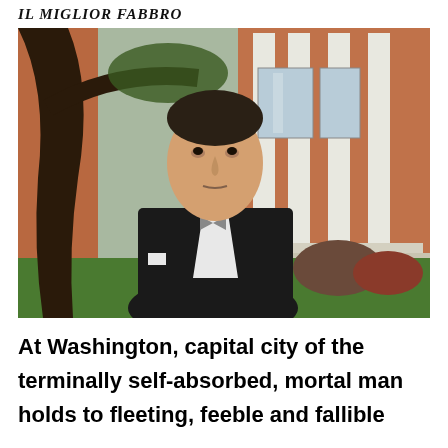IL MIGLIOR FABBRO
[Figure (photo): A man in a black tuxedo with bow tie standing outdoors in front of a brick colonial-style building with white columns and green lawn, with a large tree trunk visible on the left.]
At Washington, capital city of the terminally self-absorbed, mortal man holds to fleeting, feeble and fallible